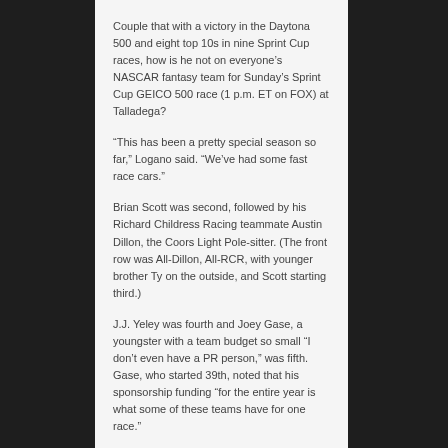Couple that with a victory in the Daytona 500 and eight top 10s in nine Sprint Cup races, how is he not on everyone's NASCAR fantasy team for Sunday's Sprint Cup GEICO 500 race (1 p.m. ET on FOX) at Talladega?
“This has been a pretty special season so far,” Logano said. “We’ve had some fast race cars.”
Brian Scott was second, followed by his Richard Childress Racing teammate Austin Dillon, the Coors Light Pole-sitter. (The front row was All-Dillon, All-RCR, with younger brother Ty on the outside, and Scott starting third.)
J.J. Yeley was fourth and Joey Gase, a youngster with a team budget so small “I don’t even have a PR person,” was fifth. Gase, who started 39th, noted that his sponsorship funding “for the entire year is what some of these teams have for one race.”